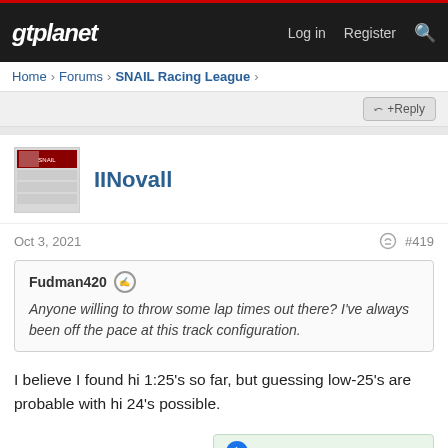gtplanet  Log in  Register
Home > Forums > SNAIL Racing League >
IINovall
Oct 3, 2021  #419
Fudman420  Anyone willing to throw some lap times out there? I've always been off the pace at this track configuration.
I believe I found hi 1:25's so far, but guessing low-25's are probable with hi 24's possible.
MrDonovan and Fudman420
Reply